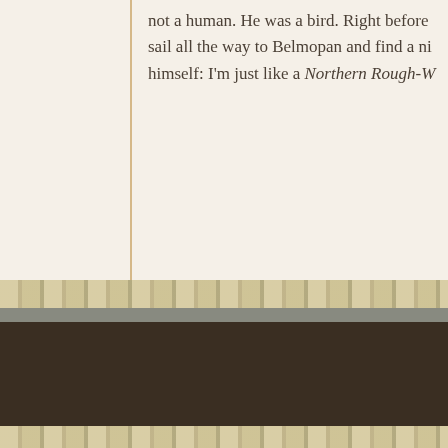not a human. He was a bird. Right before sail all the way to Belmopan and find a ni himself: I'm just like a Northern Rough-W
ROUGAROU, AN ONLINE LITERARY JOURNAL. Department of English | Griffin Hall, Room 221 · T: 337-482-6908 Contact Rougarou | Submission Guidelines | Site Manager © 2012 University of Louisiana at Lafayette | Privacy Statement Site Updated: February 15, 2014